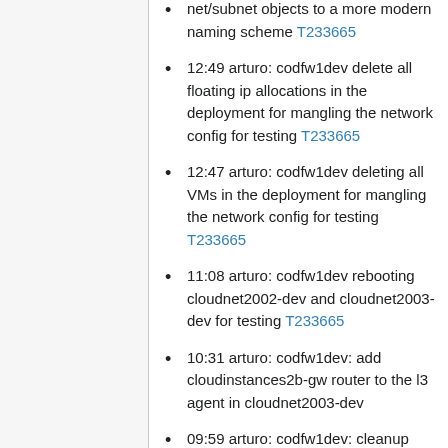net/subnet objects to a more modern naming scheme T233665
12:49 arturo: codfw1dev delete all floating ip allocations in the deployment for mangling the network config for testing T233665
12:47 arturo: codfw1dev deleting all VMs in the deployment for mangling the network config for testing T233665
11:08 arturo: codfw1dev rebooting cloudnet2002-dev and cloudnet2003-dev for testing T233665
10:31 arturo: codfw1dev: add cloudinstances2b-gw router to the l3 agent in cloudnet2003-dev
09:59 arturo: codfw1dev: cleanup leftover "HA port tenant admin" in neutron (ports from missing servers)
09:46 arturo: codfw1dev: cleanup